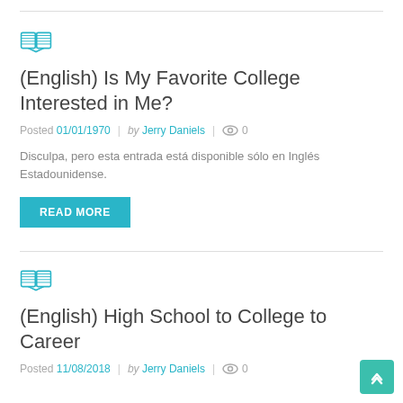[Figure (illustration): Open book icon in teal/cyan color]
(English) Is My Favorite College Interested in Me?
Posted 01/01/1970  |  by Jerry Daniels  |  👁 0
Disculpa, pero esta entrada está disponible sólo en Inglés Estadounidense.
READ MORE
[Figure (illustration): Open book icon in teal/cyan color]
(English) High School to College to Career
Posted 11/08/2018  |  by Jerry Daniels  |  👁 0